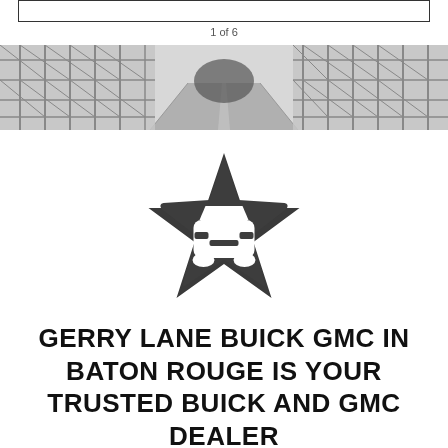1 of 6
[Figure (photo): Grayscale photograph of a road going through a large steel bridge structure, viewed from inside the bridge looking forward through the tunnel-like frame]
[Figure (illustration): Dark gray rounded star shape with a white car/automobile front-view silhouette icon in the center]
GERRY LANE BUICK GMC IN BATON ROUGE IS YOUR TRUSTED BUICK AND GMC DEALER